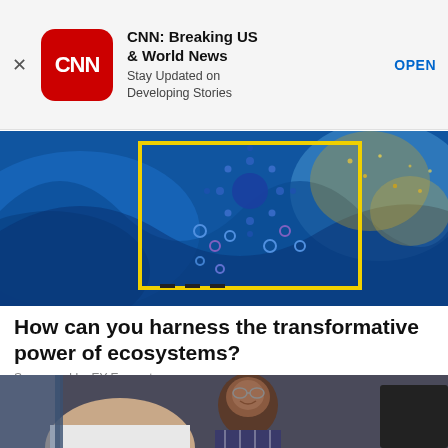[Figure (screenshot): CNN app advertisement banner with close X button, CNN red rounded square logo, title 'CNN: Breaking US & World News', subtitle 'Stay Updated on Developing Stories', and OPEN button link]
[Figure (photo): Abstract colorful artwork with blue swirling paint background, yellow rectangle frame, and circular dot patterns in blue and gold]
How can you harness the transformative power of ecosystems?
Sponsored by EY Ecosystems
[Figure (photo): A smiling Black man with short beard and glasses wearing a plaid shirt, partially seen in an office environment with another person in foreground and a monitor on the right]